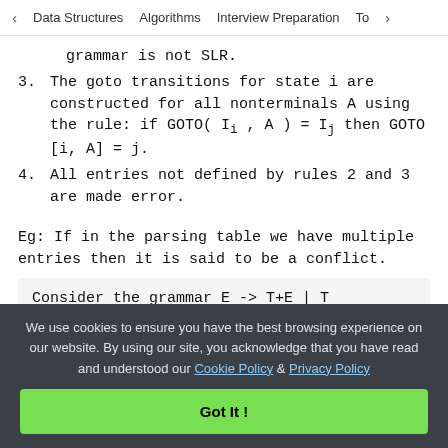< Data Structures   Algorithms   Interview Preparation   Top>
grammar is not SLR.
3. The goto transitions for state i are constructed for all nonterminals A using the rule: if GOTO( I_i , A ) = I_j then GOTO [i, A] = j.
4. All entries not defined by rules 2 and 3 are made error.
Eg: If in the parsing table we have multiple entries then it is said to be a conflict.
Consider the grammar E -> T+E | T
We use cookies to ensure you have the best browsing experience on our website. By using our site, you acknowledge that you have read and understood our Cookie Policy & Privacy Policy
Got It !